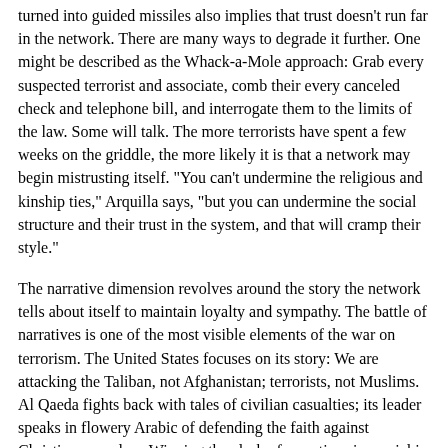turned into guided missiles also implies that trust doesn't run far in the network. There are many ways to degrade it further. One might be described as the Whack-a-Mole approach: Grab every suspected terrorist and associate, comb their every canceled check and telephone bill, and interrogate them to the limits of the law. Some will talk. The more terrorists have spent a few weeks on the griddle, the more likely it is that a network may begin mistrusting itself. "You can't undermine the religious and kinship ties," Arquilla says, "but you can undermine the social structure and their trust in the system, and that will cramp their style."
The narrative dimension revolves around the story the network tells about itself to maintain loyalty and sympathy. The battle of narratives is one of the most visible elements of the war on terrorism. The United States focuses on its story: We are attacking the Taliban, not Afghanistan; terrorists, not Muslims. Al Qaeda fights back with tales of civilian casualties; its leader speaks in flowery Arabic of defending the faith against Christian crusaders. Winning the clash of narratives is crucial in netwar. Americans need forward airbases and at least grudging cooperation from military, political, and intelligence people -- and the private sector -- in places like Syria and Pakistan. The irregulars of al Qaeda, who need sympathy and cover, are doomed if they lose the battle of the story. "That's where the Chechens fell down terribly in their second war" against the Russians, Arquilla says. "In the first, in 1994 to '96, they were plucky freedom fighters. The second time around